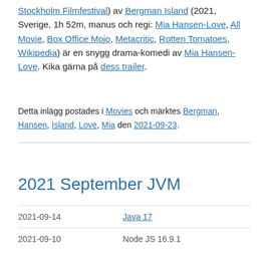Stockholm Filmfestival) av Bergman Island (2021, Sverige, 1h 52m, manus och regi: Mia Hansen-Love, All Movie, Box Office Mojo, Metacritic, Rotten Tomatoes, Wikipedia) är en snygg drama-komedi av Mia Hansen-Love. Kika gärna på dess trailer.
Detta inlägg postades i Movies och märktes Bergman, Hansen, Island, Love, Mia den 2021-09-23.
2021 September JVM
| Date | Title |
| --- | --- |
| 2021-09-14 | Java 17 |
| 2021-09-10 | Node JS 16.9.1 |